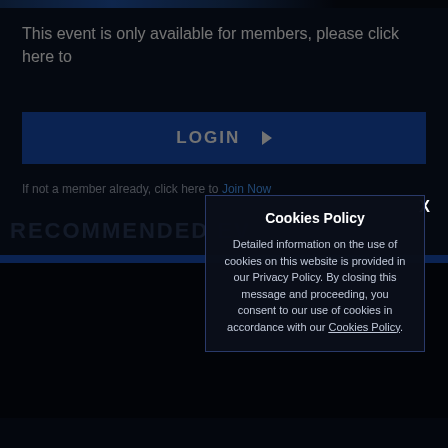This event is only available for members, please click here to
LOGIN ▶
If not a member already, click here to Join Now
RECOMMENDED EV…
Cookies Policy
Detailed information on the use of cookies on this website is provided in our Privacy Policy. By closing this message and proceeding, you consent to our use of cookies in accordance with our Cookies Policy.